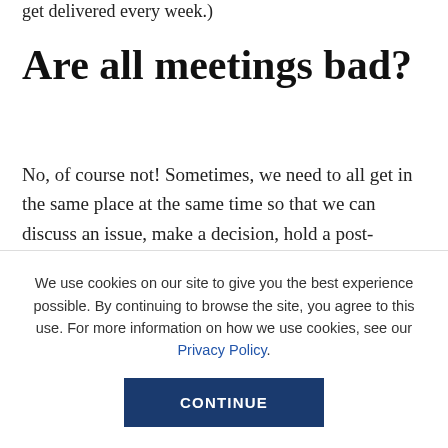get delivered every week.
Are all meetings bad?
No, of course not! Sometimes, we need to all get in the same place at the same time so that we can discuss an issue, make a decision, hold a post-mortem, etc.
And, there's one type of meeting we should always hold sacrosanct and not even consider eliminating:
We use cookies on our site to give you the best experience possible. By continuing to browse the site, you agree to this use. For more information on how we use cookies, see our Privacy Policy.
CONTINUE